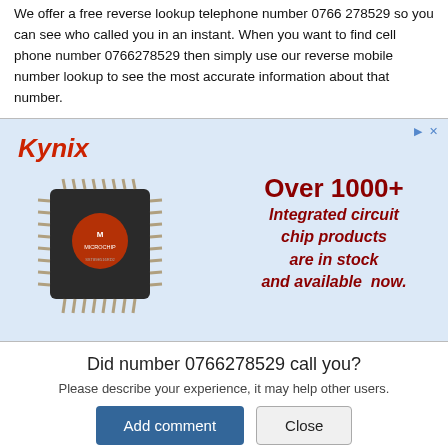We offer a free reverse lookup telephone number 0766 278529 so you can see who called you in an instant. When you want to find cell phone number 0766278529 then simply use our reverse mobile number lookup to see the most accurate information about that number.
[Figure (screenshot): Kynix advertisement banner showing a Microchip integrated circuit chip with text: Over 1000+ Integrated circuit chip products are in stock and available now.]
Did number 0766278529 call you?
Please describe your experience, it may help other users.